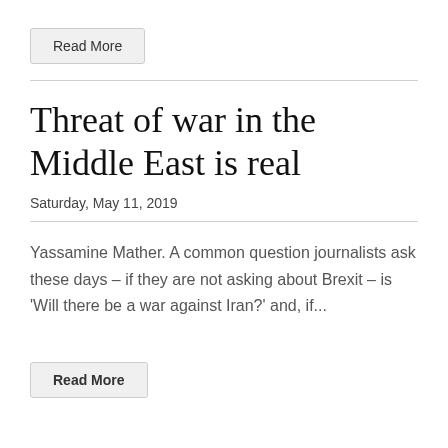Read More
Threat of war in the Middle East is real
Saturday, May 11, 2019
Yassamine Mather. A common question journalists ask these days – if they are not asking about Brexit – is 'Will there be a war against Iran?' and, if...
Read More